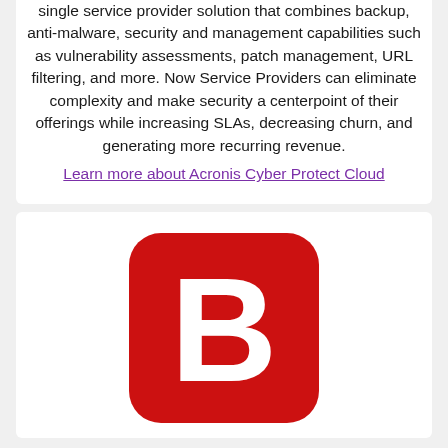single service provider solution that combines backup, anti-malware, security and management capabilities such as vulnerability assessments, patch management, URL filtering, and more. Now Service Providers can eliminate complexity and make security a centerpoint of their offerings while increasing SLAs, decreasing churn, and generating more recurring revenue. Learn more about Acronis Cyber Protect Cloud
[Figure (logo): Bitdefender logo: red rounded square with white bold letter B]